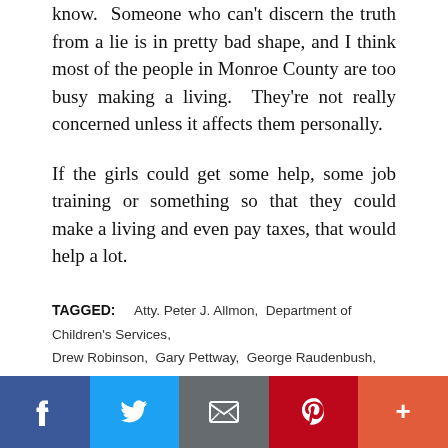know.  Someone who can't discern the truth from a lie is in pretty bad shape, and I think most of the people in Monroe County are too busy making a living.  They're not really concerned unless it affects them personally.
If the girls could get some help, some job training or something so that they could make a living and even pay taxes, that would help a lot.
TAGGED: Atty. Peter J. Allmon, Department of Children's Services, Drew Robinson, Gary Pettway, George Raudenbush, grand jury, Monroe County, Sheriff Bill Bivens, Steve Bebb, Tennessee, Tennessee corruption, Tennessee Department of Children's Services
[Figure (other): Social share bar with Facebook, Twitter, Email, Pinterest, and More buttons]